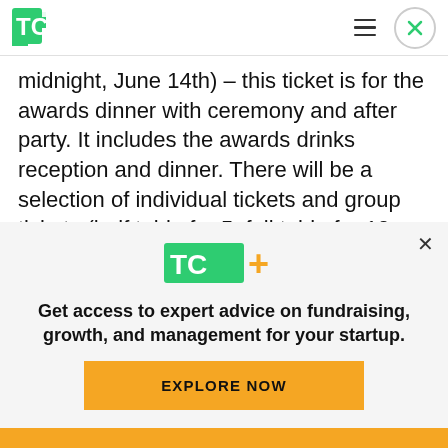TechCrunch
midnight, June 14th) – this ticket is for the awards dinner with ceremony and after party. It includes the awards drinks reception and dinner. There will be a selection of individual tickets and group tickets (half table for 5, full table for 10 or 12) available. NOT YET ON SALE – join the mailing list to be notified when they are available.
[Figure (logo): TechCrunch TC+ logo in green with a yellow plus sign]
Get access to expert advice on fundraising, growth, and management for your startup.
EXPLORE NOW